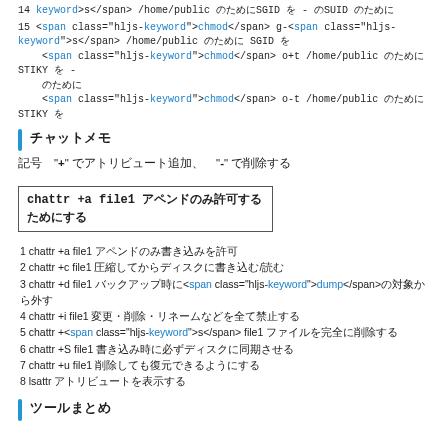14 keyword">s</span> /home/public ためにSGID を - のSUID のために
15 <span class="hljs-keyword">chmod</span> g-<span class="hljs-keyword">s</span> /home/public のために SGID を
<span class="hljs-keyword">chmod</span> o+t /home/public のために STIKY を - のために
<span class="hljs-keyword">chmod</span> o-t /home/public のために STIKY を
チャットメモ
記号 "+" でアトリビュート追加、 "-" で削除する
[Figure (screenshot): Command box showing: chattr +a file1 アペンドのみ許可する]
1 chattr +a file1 アペンドのみ書き込みを許可
2 chattr +c file1 圧縮してからディスクに書き込む/読む
3 chattr +d file1 バックアップ時にdumpの対象から外す
4 chattr +i file1 変更・削除・リネームなどを全て禁止する
5 chattr +s file1 ファイルを完全に削除する
6 chattr +S file1 書き込み時に必ずディスクに同期させる
7 chattr +u file1 削除しても復元できるようにする
8 lsattr アトリビュートを表示する
ツールまとめ